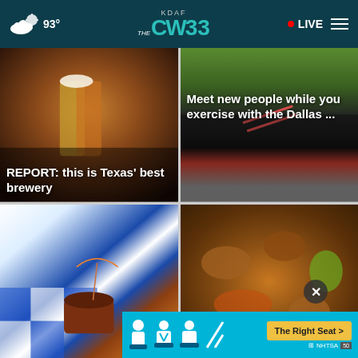KDAF CW33 — 93° — LIVE
[Figure (photo): Beer being poured into a glass at a brewery]
REPORT: this is Texas' best brewery
[Figure (photo): Close-up of running shoes on pavement, person exercising]
Meet new people while you exercise with the Dallas ...
[Figure (photo): Chocolate cupcake with candy toppings and cocktail umbrella on blue checkered background]
[Figure (photo): Close-up of stir-fried meat and vegetables dish]
The best...
[Figure (infographic): NHTSA ad banner: The Right Seat with car seat safety icons]